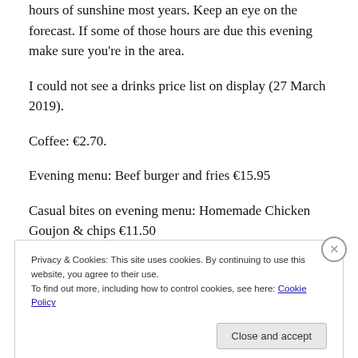hours of sunshine most years. Keep an eye on the forecast. If some of those hours are due this evening make sure you're in the area.
I could not see a drinks price list on display (27 March 2019).
Coffee: €2.70.
Evening menu: Beef burger and fries €15.95
Casual bites on evening menu: Homemade Chicken Goujon & chips €11.50
Privacy & Cookies: This site uses cookies. By continuing to use this website, you agree to their use.
To find out more, including how to control cookies, see here: Cookie Policy